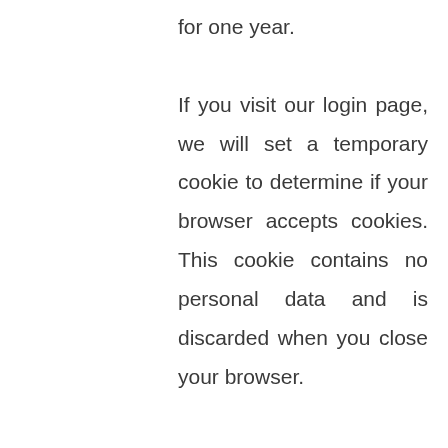for one year. If you visit our login page, we will set a temporary cookie to determine if your browser accepts cookies. This cookie contains no personal data and is discarded when you close your browser.